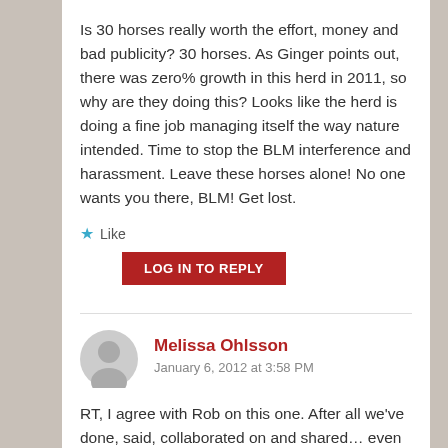Is 30 horses really worth the effort, money and bad publicity? 30 horses. As Ginger points out, there was zero% growth in this herd in 2011, so why are they doing this? Looks like the herd is doing a fine job managing itself the way nature intended. Time to stop the BLM interference and harassment. Leave these horses alone! No one wants you there, BLM! Get lost.
★ Like
LOG IN TO REPLY
Melissa Ohlsson
January 6, 2012 at 3:58 PM
RT, I agree with Rob on this one. After all we've done, said, collaborated on and shared… even after traveling across the country to Washington D.C…